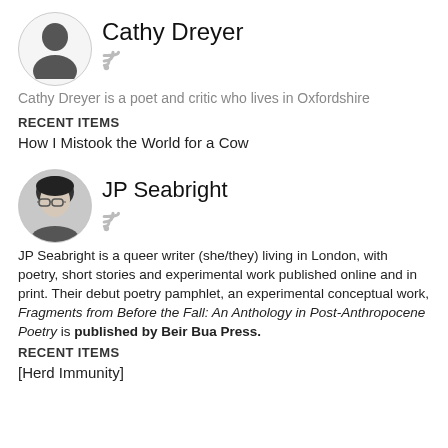Cathy Dreyer
Cathy Dreyer is a poet and critic who lives in Oxfordshire
RECENT ITEMS
How I Mistook the World for a Cow
JP Seabright
JP Seabright is a queer writer (she/they) living in London, with poetry, short stories and experimental work published online and in print. Their debut poetry pamphlet, an experimental conceptual work, Fragments from Before the Fall: An Anthology in Post-Anthropocene Poetry is published by Beir Bua Press.
RECENT ITEMS
[Herd Immunity]